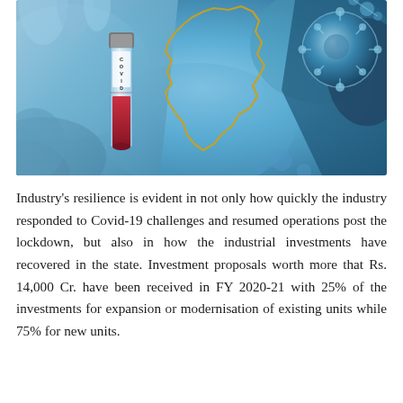[Figure (photo): COVID-19 themed composite image showing a medical test tube labeled COVID-19 held by a gloved hand, overlaid with a golden outline map shape (likely Uttar Pradesh, India), a microscopic virus circle illustration on the right, all set against a blue toned background with molecular/virus particle imagery.]
Industry's resilience is evident in not only how quickly the industry responded to Covid-19 challenges and resumed operations post the lockdown, but also in how the industrial investments have recovered in the state. Investment proposals worth more that Rs. 14,000 Cr. have been received in FY 2020-21 with 25% of the investments for expansion or modernisation of existing units while 75% for new units.